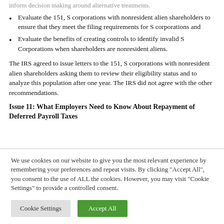Evaluate the 151, S corporations with nonresident alien shareholders to ensure that they meet the filing requirements for S corporations and
Evaluate the benefits of creating controls to identify invalid S Corporations when shareholders are nonresident aliens.
The IRS agreed to issue letters to the 151, S corporations with nonresident alien shareholders asking them to review their eligibility status and to analyze this population after one year. The IRS did not agree with the other recommendations.
Issue 11: What Employers Need to Know About Repayment of Deferred Payroll Taxes
We use cookies on our website to give you the most relevant experience by remembering your preferences and repeat visits. By clicking "Accept All", you consent to the use of ALL the cookies. However, you may visit "Cookie Settings" to provide a controlled consent.